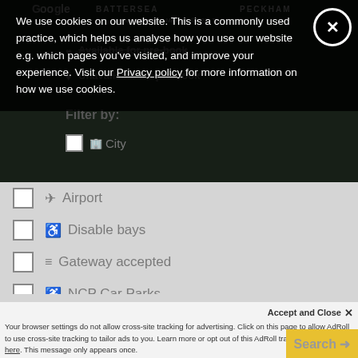[Figure (screenshot): Google Maps screenshot showing London areas including Battersea and Peckham, with map controls and attribution. Semi-transparent dark overlay with available/unavailable for pre-book icons and Filter by: label visible underneath cookie banner.]
We use cookies on our website. This is a commonly used practice, which helps us analyse how you use our website e.g. which pages you've visited, and improve your experience. Visit our Privacy policy for more information on how we use cookies.
Airport
Disable bays
Gateway accepted
NCP Car Parks
Amend your search:
Your browser settings do not allow cross-site tracking for advertising. Click on this page to allow AdRoll to use cross-site tracking to tailor ads to you. Learn more or opt out of this AdRoll tracking by clicking here. This message only appears once.